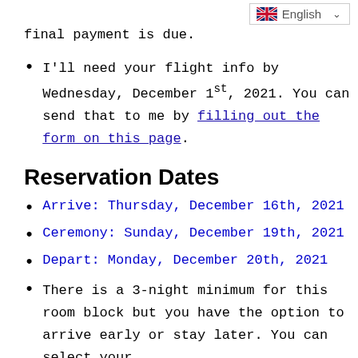final payment is due.
I'll need your flight info by Wednesday, December 1st, 2021. You can send that to me by filling out the form on this page.
Reservation Dates
Arrive: Thursday, December 16th, 2021
Ceremony: Sunday, December 19th, 2021
Depart: Monday, December 20th, 2021
There is a 3-night minimum for this room block but you have the option to arrive early or stay later. You can select your